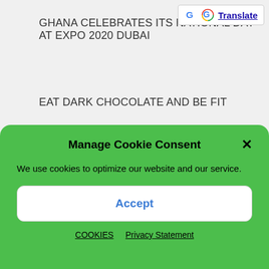[Figure (logo): Google Translate button with G logo and 'Translate' link]
GHANA CELEBRATES ITS NATIONAL DAY AT EXPO 2020 DUBAI
EAT DARK CHOCOLATE AND BE FIT
POPULAR TOPICS
BUSINESS OPPORTUNITY (15)
CASHEW (3)
Manage Cookie Consent
We use cookies to optimize our website and our service.
Accept
COOKIES   Privacy Statement